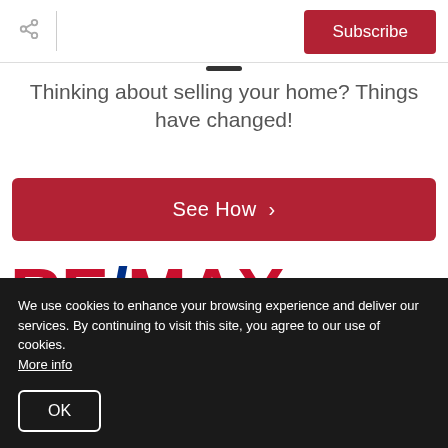Subscribe
Thinking about selling your home? Things have changed!
See How >
[Figure (logo): RE/MAX Shoreline logo — RE/MAX in large red and blue text, with 'shoreline' in white on a blue rectangle below]
We use cookies to enhance your browsing experience and deliver our services. By continuing to visit this site, you agree to our use of cookies. More info
OK